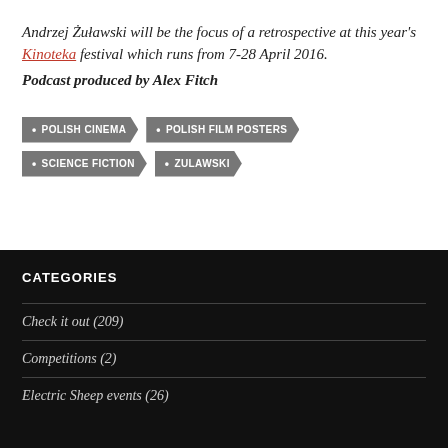Andrzej Żuławski will be the focus of a retrospective at this year's Kinoteka festival which runs from 7-28 April 2016.
Podcast produced by Alex Fitch
POLISH CINEMA
POLISH FILM POSTERS
SCIENCE FICTION
ZULAWSKI
CATEGORIES
Check it out (209)
Competitions (2)
Electric Sheep events (26)